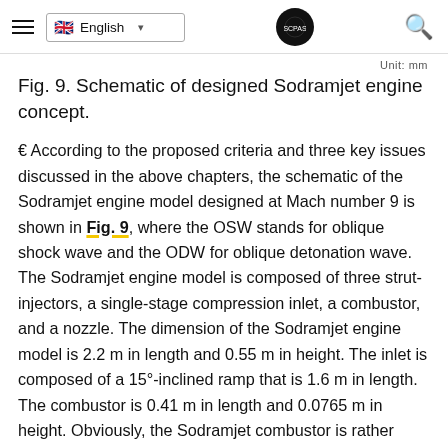English
Fig. 9. Schematic of designed Sodramjet engine concept.
€ According to the proposed criteria and three key issues discussed in the above chapters, the schematic of the Sodramjet engine model designed at Mach number 9 is shown in Fig. 9, where the OSW stands for oblique shock wave and the ODW for oblique detonation wave. The Sodramjet engine model is composed of three strut-injectors, a single-stage compression inlet, a combustor, and a nozzle. The dimension of the Sodramjet engine model is 2.2 m in length and 0.55 m in height. The inlet is composed of a 15°-inclined ramp that is 1.6 m in length. The combustor is 0.41 m in length and 0.0765 m in height. Obviously, the Sodramjet combustor is rather short by comparing with scramjets even it is to operate